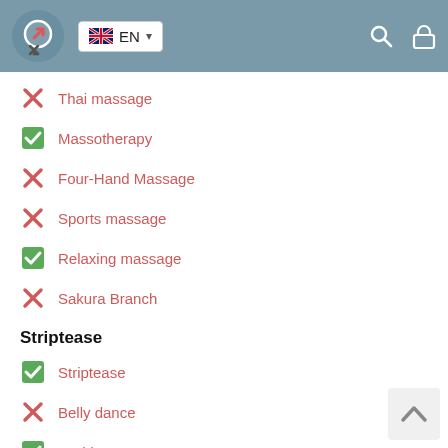Logo EN language selector, search and lock icons
Thai massage (X - not available)
Massotherapy (checked - available)
Four-Hand Massage (X - not available)
Sports massage (X - not available)
Relaxing massage (checked - available)
Sakura Branch (X - not available)
Striptease
Striptease (checked - available)
Belly dance (X - not available)
Lesbian (checked - available)
BDSM
Mistress (X - not available)
Light domination (X - not available)
BDSM (X - not available)
Slave (partially visible, X - not available)